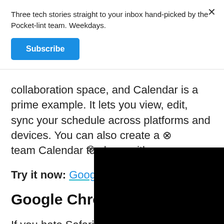Three tech stories straight to your inbox hand-picked by the Pocket-lint team. Weekdays.
Subscribe
collaboration space, and Calendar is a prime example. It lets you view, edit, sync your schedule across platforms and devices. You can also create a team Calendar to share with
Try it now: Google Calenda
Google Chrome
If you hate Safari, consider trying to Chrome, especially if you use the desktop app. It's a powerful browser that syncs across all your devices.